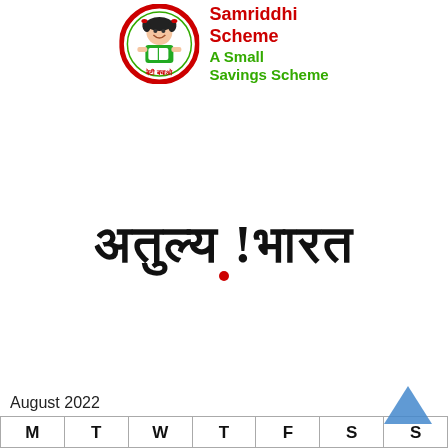[Figure (logo): Sukanya Samriddhi Scheme logo — circular badge with girl reading, red border, Hindi text at bottom. Beside it: 'Samriddhi Scheme' in red bold and 'A Small Savings Scheme' in green bold.]
[Figure (logo): Incredible India Hindi logo — अतुल्य !भारत in large serif bold black text with a red dot beneath the exclamation mark.]
August 2022
| M | T | W | T | F | S | S |
| --- | --- | --- | --- | --- | --- | --- |